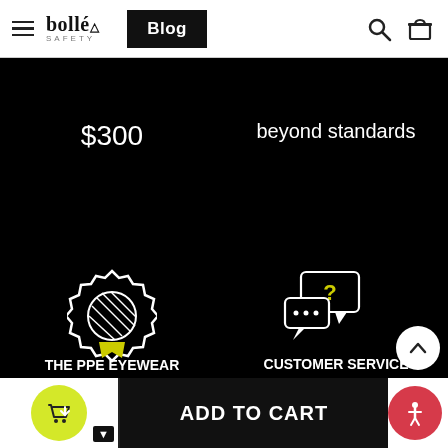bollé safety — Blog — [search] [cart]
$300
beyond standards
[Figure (illustration): Award/certification badge icon with diagonal lines, white outline, with yellow ribbon at bottom]
[Figure (illustration): Chat bubbles icon with question mark, white outline]
THE PPE EYEWEAR SPECIALISTS
for over 130 years
CUSTOMER SERVICE
Contact us
ADD TO CART